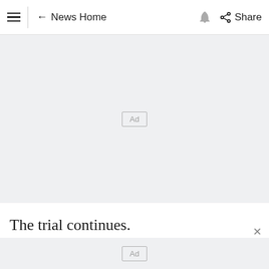≡ | ← News Home 🔔 Share
[Figure (other): Advertisement placeholder box with 'Ad' label on grey background]
The trial continues.
[Figure (other): Advertisement placeholder box with 'Ad' label on grey background at bottom]